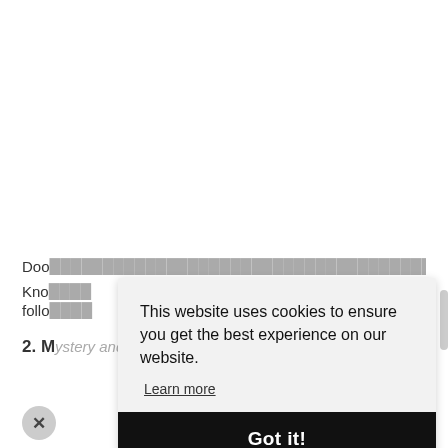Doo... [partially obscured] ...in the US, before moving back to the UK...
Kno... [partially obscured]
follo... [partially obscured]
2. M... [partially obscured] ...stery and the music of MF Doom...
This website uses cookies to ensure you get the best experience on our website.
Learn more
Got it!